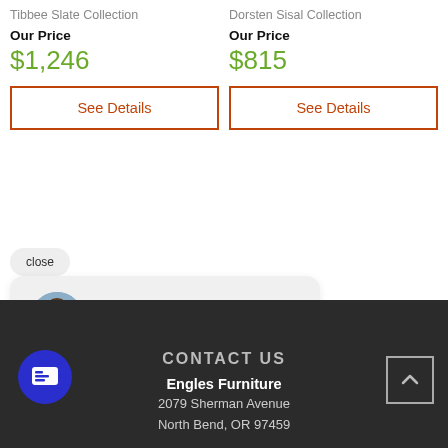Tibbee Slate Collection
Our Price
$1,246
See Details
Dorsten Sisal Collection
Our Price
$815
See Details
close
Hi there, have a question? Text us here.
CONTACT US
Engles Furniture
2079 Sherman Avenue
North Bend, OR 97459